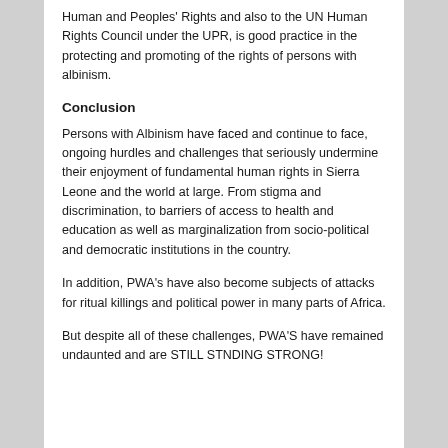Human and Peoples' Rights and also to the UN Human Rights Council under the UPR, is good practice in the protecting and promoting of the rights of persons with albinism.
Conclusion
Persons with Albinism have faced and continue to face, ongoing hurdles and challenges that seriously undermine their enjoyment of fundamental human rights in Sierra Leone and the world at large. From stigma and discrimination, to barriers of access to health and education as well as marginalization from socio-political and democratic institutions in the country.
In addition, PWA's have also become subjects of attacks for ritual killings and political power in many parts of Africa.
But despite all of these challenges, PWA'S have remained undaunted and are STILL STNDING STRONG!